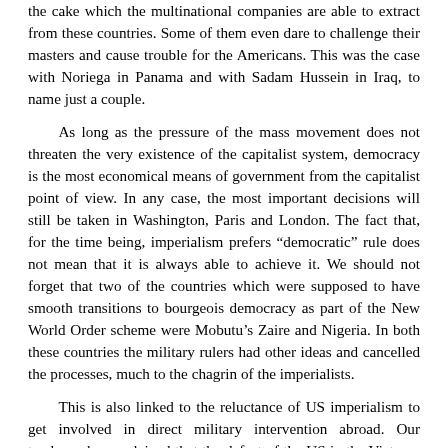the cake which the multinational companies are able to extract from these countries. Some of them even dare to challenge their masters and cause trouble for the Americans. This was the case with Noriega in Panama and with Sadam Hussein in Iraq, to name just a couple.
As long as the pressure of the mass movement does not threaten the very existence of the capitalist system, democracy is the most economical means of government from the capitalist point of view. In any case, the most important decisions will still be taken in Washington, Paris and London. The fact that, for the time being, imperialism prefers “democratic” rule does not mean that it is always able to achieve it. We should not forget that two of the countries which were supposed to have smooth transitions to bourgeois democracy as part of the New World Order scheme were Mobutu’s Zaire and Nigeria. In both these countries the military rulers had other ideas and cancelled the processes, much to the chagrin of the imperialists.
This is also linked to the reluctance of US imperialism to get involved in direct military intervention abroad. Our tendency has explained that the defeat of the US in the Vietnam war was mainly due to mass opposition at home and the restless mood amongst the troops. One US general actually compared the